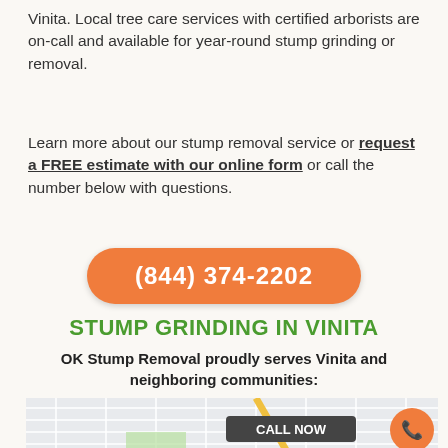Vinita. Local tree care services with certified arborists are on-call and available for year-round stump grinding or removal.
Learn more about our stump removal service or request a FREE estimate with our online form or call the number below with questions.
(844) 374-2202
STUMP GRINDING IN VINITA
OK Stump Removal proudly serves Vinita and neighboring communities:
[Figure (map): Street map of Vinita area showing grid of streets with a yellow diagonal road, green park area, Call Now button and phone icon overlay]